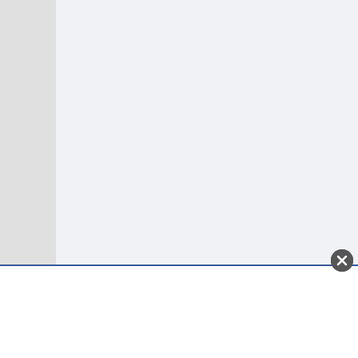to 5.1.1 just after searching for firewire/usb devices it starts to look for knoppix in sda1 and a bunch of others, it moved to fast I couldn't see. Then I get the "Can't find knoppix file system" error and it stops dead at a #knoppix prompt.

If I type exit, it displays some more possible useful information.